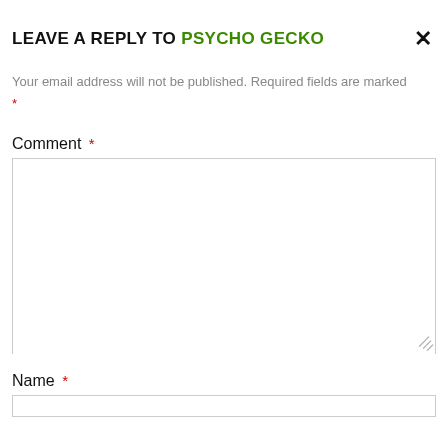LEAVE A REPLY TO PSYCHO GECKO
Your email address will not be published. Required fields are marked *
Comment *
Name *